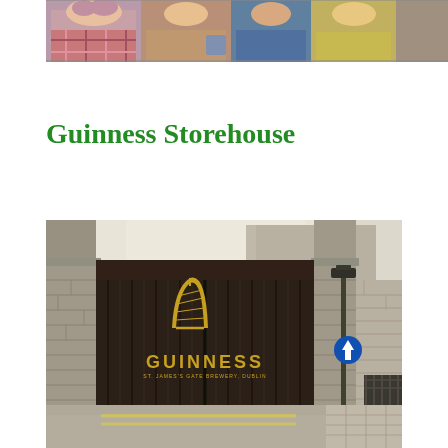[Figure (photo): Photo of people (close-up faces/upper bodies), partial view at top of page]
Guinness Storehouse
[Figure (photo): Photo of Guinness Storehouse entrance gate with large black wooden doors displaying the Guinness harp logo and text, flanked by stone walls, a street lamp, and a blue directional sign]